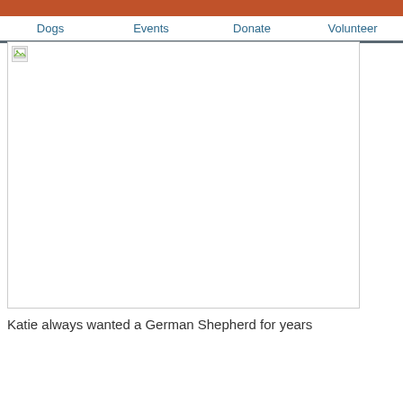Dogs  Events  Donate  Volunteer
[Figure (photo): A large white/blank image placeholder representing a dog photo that failed to load, with a small broken image icon in the top-left corner.]
Katie always wanted a German Shepherd for years